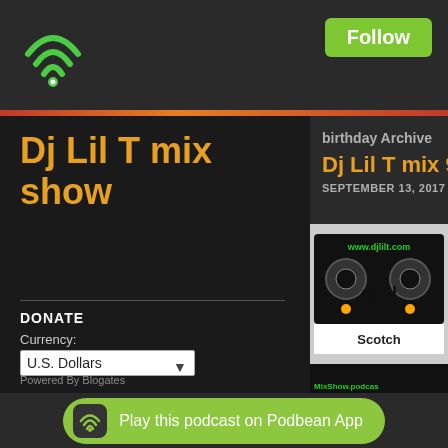[Figure (logo): Green WiFi icon at top left]
Follow
Dj Lil T mix show
DONATE
Currency:
U.S. Dollars
Amount:
Website(Optional):
Make A Donation
Powered By Blogates
birthday Archive
Dj Lil T mix 90s
SEPTEMBER 13, 2017 @ 6:45
[Figure (photo): Cassette tape image with www.djlilt.com text, MixShow.podcast, 90's Dance party M, Scotch branding]
Play this podcast on Podbean App